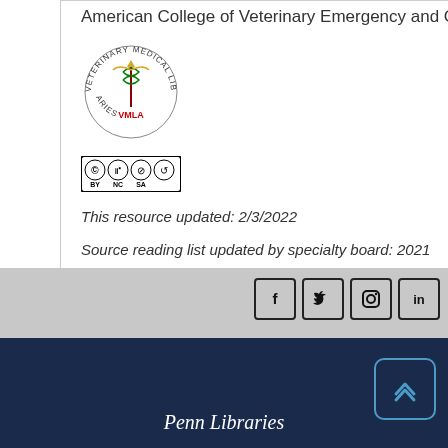American College of Veterinary Emergency and Critical Care
[Figure (logo): Veterinary Medical Libraries (VMLA) circular logo with caduceus symbol]
[Figure (logo): Creative Commons BY NC SA license badge]
This resource updated: 2/3/2022
Source reading list updated by specialty board: 2021
[Figure (other): Social media icons: Facebook, Twitter, Instagram, LinkedIn]
Penn Libraries